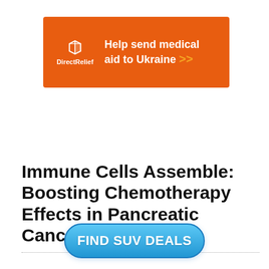[Figure (other): Orange rectangular advertisement banner for Direct Relief charity with white logo icon, text 'Help send medical aid to Ukraine >>']
Immune Cells Assemble: Boosting Chemotherapy Effects in Pancreatic Cancer
[Figure (other): Blue rounded rectangle button with white bold text 'FIND SUV DEALS']